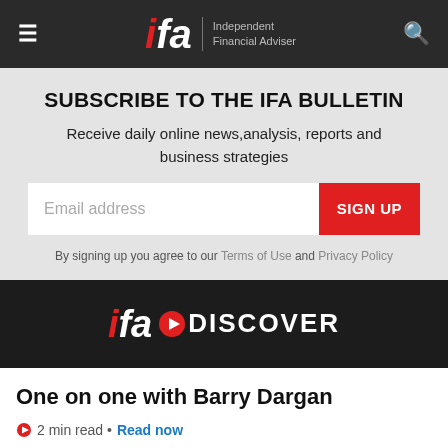ifa Independent Financial Adviser
SUBSCRIBE TO THE IFA BULLETIN
Receive daily online news,analysis, reports and business strategies
Email address  SIGN UP
By signing up you agree to our Terms of Use and Privacy Policy
[Figure (logo): ifa DISCOVER logo on dark background]
One on one with Barry Dargan
2 min read • Read now